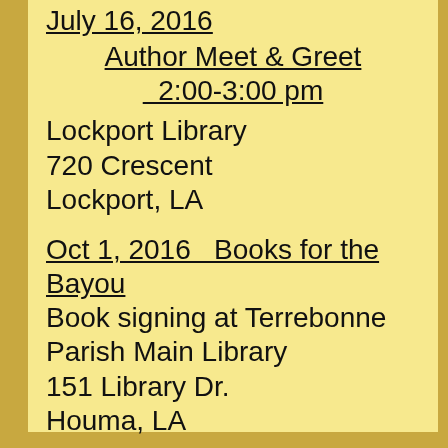July 16, 2016  Author Meet & Greet  2:00-3:00 pm
Lockport Library
720 Crescent
Lockport, LA
Oct 1, 2016   Books for the Bayou
Book signing at Terrebonne Parish Main Library
151 Library Dr.
Houma, LA